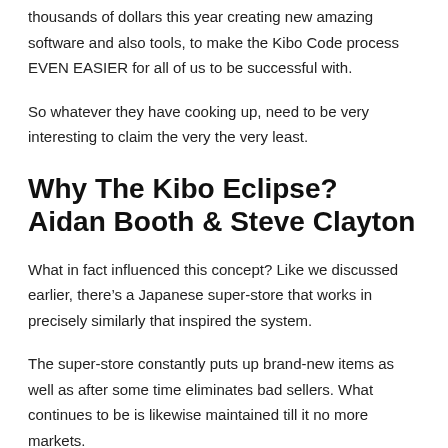thousands of dollars this year creating new amazing software and also tools, to make the Kibo Code process EVEN EASIER for all of us to be successful with.
So whatever they have cooking up, need to be very interesting to claim the very the very least.
Why The Kibo Eclipse? Aidan Booth & Steve Clayton
What in fact influenced this concept? Like we discussed earlier, there’s a Japanese super-store that works in precisely similarly that inspired the system.
The super-store constantly puts up brand-new items as well as after some time eliminates bad sellers. What continues to be is likewise maintained till it no more markets.
So the primary point to join in the super-store. This is where big